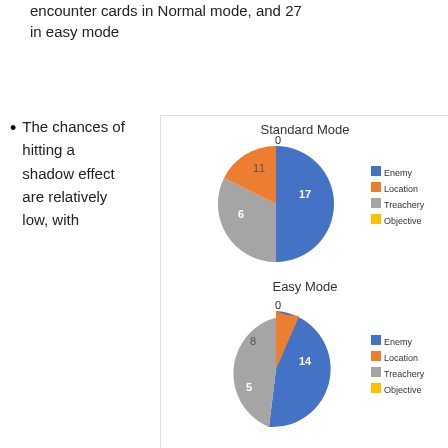encounter cards in Normal mode, and 27 in easy mode
The chances of hitting a shadow effect are relatively low, with
[Figure (pie-chart): Standard Mode]
[Figure (pie-chart): Easy Mode]